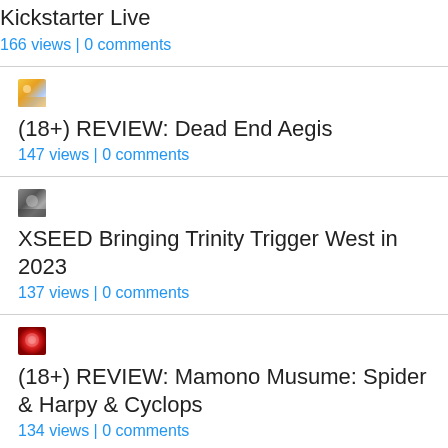Kickstarter Live
166 views | 0 comments
[Figure (photo): Small thumbnail image for Dead End Aegis review post]
(18+) REVIEW: Dead End Aegis
147 views | 0 comments
[Figure (photo): Small thumbnail image for XSEED Bringing Trinity Trigger West in 2023 post]
XSEED Bringing Trinity Trigger West in 2023
137 views | 0 comments
[Figure (photo): Small thumbnail image for Mamono Musume Spider & Harpy & Cyclops review post]
(18+) REVIEW: Mamono Musume: Spider & Harpy & Cyclops
134 views | 0 comments
[Figure (photo): Small thumbnail image for Dohna Dohna review post]
(18+) REVIEW: Dohna Dohna
116 views | 0 comments